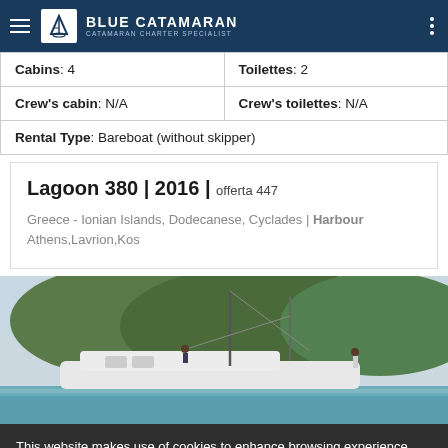Blue Catamaran - Catamaran Charter Specialist
| Cabins: 4 | Toilettes: 2 |
| Crew's cabin: N/A | Crew's toilettes: N/A |
| Rental Type: Bareboat (without skipper) |  |
Lagoon 380 | 2016 | offerta 447
Greece - Ionian Islands, Dodecanese, Cyclades | Harbour Athens,Lavrion,Kos
[Figure (photo): A white catamaran sailboat moored near a tree-covered hillside, with two people on deck, calm blue-green water in the foreground]
This website makes use of cookies to enhance browsing experience and provide additional functionality. Details
Allow cookies